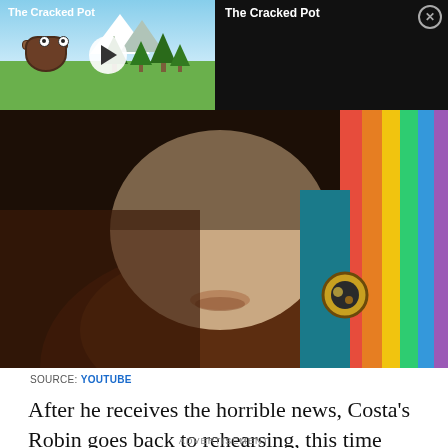[Figure (screenshot): Video thumbnail overlay showing animated 'The Cracked Pot' with a cartoon pot character in a landscape, with a play button, and a right panel with black background showing the title 'The Cracked Pot' and a close button]
[Figure (photo): Close-up photo of a person wearing a rainbow-striped outfit/suspenders with a circular badge, face partially visible, dark background]
SOURCE: YOUTUBE
After he receives the horrible news, Costa's Robin goes back to rehearsing, this time with a sadness that only the late Robin Williams could do during
ADVERTISEMENT